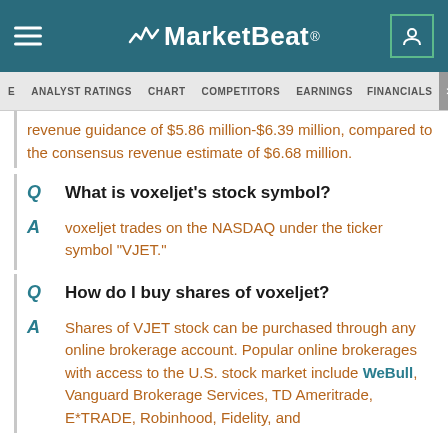MarketBeat
ANALYST RATINGS  CHART  COMPETITORS  EARNINGS  FINANCIALS  >INS
revenue guidance of $5.86 million-$6.39 million, compared to the consensus revenue estimate of $6.68 million.
Q  What is voxeljet's stock symbol?
A  voxeljet trades on the NASDAQ under the ticker symbol "VJET."
Q  How do I buy shares of voxeljet?
A  Shares of VJET stock can be purchased through any online brokerage account. Popular online brokerages with access to the U.S. stock market include WeBull, Vanguard Brokerage Services, TD Ameritrade, E*TRADE, Robinhood, Fidelity, and